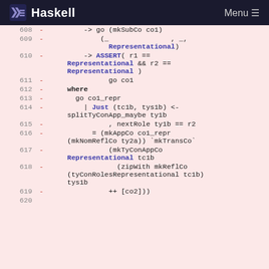Haskell Menu
[Figure (screenshot): Haskell code diff showing lines 608-619 with deleted lines (red minus signs) containing Haskell source code for coercion logic including mkSubCo, Representational, ASSERT, go, where, splitTyConApp_maybe, nextRole, mkAppCo, mkNomReflCo, mkTransCo, mkTyConAppCo, zipWith, mkReflCo, tyConRolesRepresentational, and ++ [co2]))]